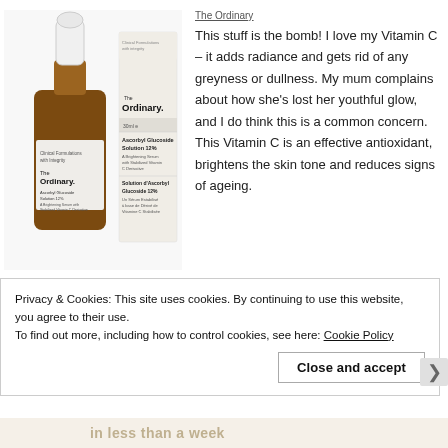[Figure (photo): Product photo of The Ordinary Ascorbyl Glucoside Solution 12% dropper bottle in amber glass, alongside the product packaging box showing label text]
The Ordinary
This stuff is the bomb! I love my Vitamin C – it adds radiance and gets rid of any greyness or dullness. My mum complains about how she's lost her youthful glow, and I do think this is a common concern. This Vitamin C is an effective antioxidant, brightens the skin tone and reduces signs of ageing.
Privacy & Cookies: This site uses cookies. By continuing to use this website, you agree to their use.
To find out more, including how to control cookies, see here: Cookie Policy
Close and accept
in less than a week